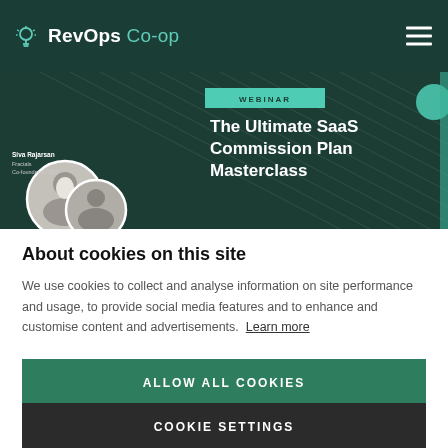RevOps Co-op
[Figure (screenshot): Webinar banner for 'The Ultimate SaaS Commission Plan Masterclass' featuring a speaker photo on a dark green geometric background with a 'WEBINAR' teal tag.]
About cookies on this site
We use cookies to collect and analyse information on site performance and usage, to provide social media features and to enhance and customise content and advertisements. Learn more
ALLOW ALL COOKIES
COOKIE SETTINGS